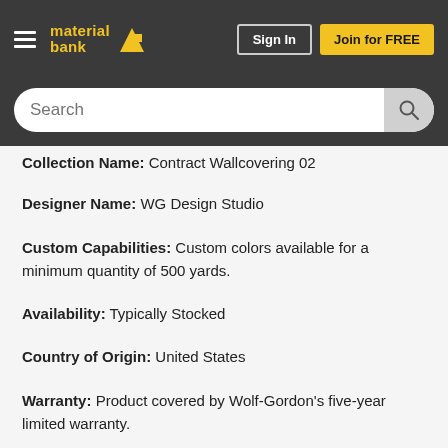material bank — Sign In — Join for FREE — Search
Collection Name: Contract Wallcovering 02
Designer Name: WG Design Studio
Custom Capabilities: Custom colors available for a minimum quantity of 500 yards.
Availability: Typically Stocked
Country of Origin: United States
Warranty: Product covered by Wolf-Gordon's five-year limited warranty.
Characteristics
Content: 100% Vinyl